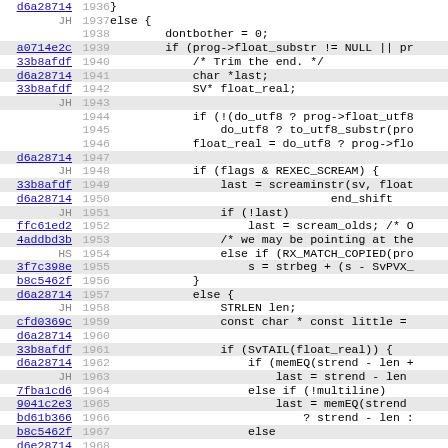[Figure (screenshot): Source code diff view showing lines 1936-1968 of a C/Perl source file with commit hash annotations and line numbers. Code includes regex/string matching logic with float handling, UTF-8 processing, and memory comparison functions.]